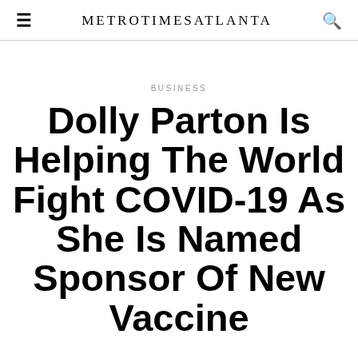METROTIMESATLANTA
BUSINESS
Dolly Parton Is Helping The World Fight COVID-19 As She Is Named Sponsor Of New Vaccine